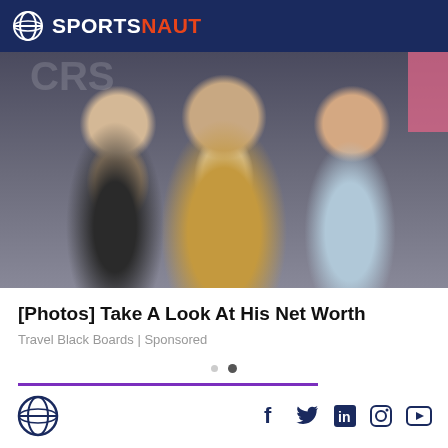SPORTSNAUT
[Figure (photo): Three people posing together at an event: a blonde woman in black on the left, a tall man with a mustache wearing a tan blazer in the center, and a woman with reddish-blonde hair on the right.]
[Photos] Take A Look At His Net Worth
Travel Black Boards | Sponsored
Social media icons: Facebook, Twitter, LinkedIn, Instagram, YouTube